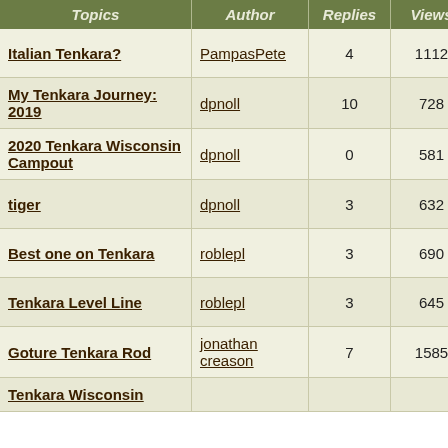| Topics | Author | Replies | Views | Last |
| --- | --- | --- | --- | --- |
| Italian Tenkara? | PampasPete | 4 | 1112 | Wed Jul 28, 20...
jangles |
| My Tenkara Journey: 2019 | dpnoll | 10 | 728 | Thu Jan 02, 20...
dpnoll |
| 2020 Tenkara Wisconsin Campout | dpnoll | 0 | 581 | Fri Nov 08, 20...
dpnoll |
| tiger | dpnoll | 3 | 632 | Sat Oct 12, 201...
jangles |
| Best one on Tenkara | roblepl | 3 | 690 | Mon Sep 16, 20...
roblepl |
| Tenkara Level Line | roblepl | 3 | 645 | Thu Sep 12, 20...
Chris Stewart |
| Goture Tenkara Rod | jonathan creason | 7 | 1585 | Mon Jun 17, 20...
dpnoll |
| Tenkara Wisconsin... |  |  |  | Sun May 26... |